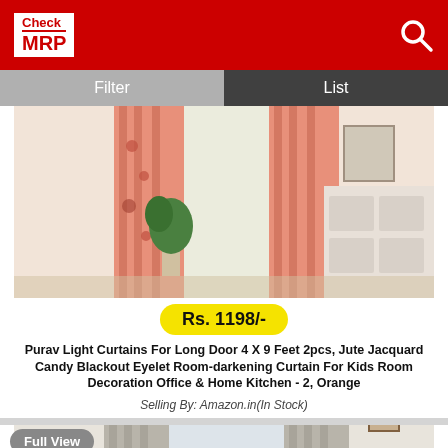[Figure (logo): CheckMRP app logo in white box on red header background]
Filter  |  List
[Figure (photo): Orange floral curtains hanging in a room with a plant and white dresser]
Rs. 1198/-
Purav Light Curtains For Long Door 4 X 9 Feet 2pcs, Jute Jacquard Candy Blackout Eyelet Room-darkening Curtain For Kids Room Decoration Office & Home Kitchen - 2, Orange
Selling By: Amazon.in(In Stock)
[Figure (photo): Gray and white curtains with striped top hanging in a room with a decorative wall frame, partially shown]
Full View